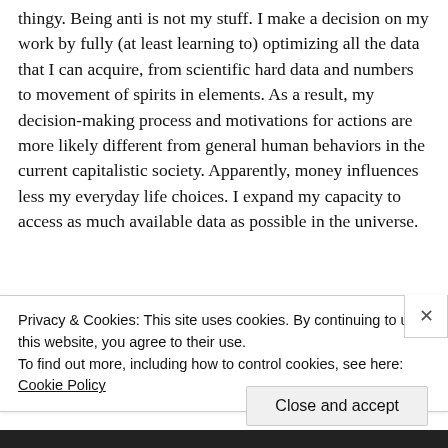the other hand, I do ego for the 'without money' thingy. Being anti is not my stuff. I make a decision on my work by fully (at least learning to) optimizing all the data that I can acquire, from scientific hard data and numbers to movement of spirits in elements. As a result, my decision-making process and motivations for actions are more likely different from general human behaviors in the current capitalistic society. Apparently, money influences less my everyday life choices. I expand my capacity to access as much available data as possible in the universe.
Privacy & Cookies: This site uses cookies. By continuing to use this website, you agree to their use.
To find out more, including how to control cookies, see here: Cookie Policy
Close and accept